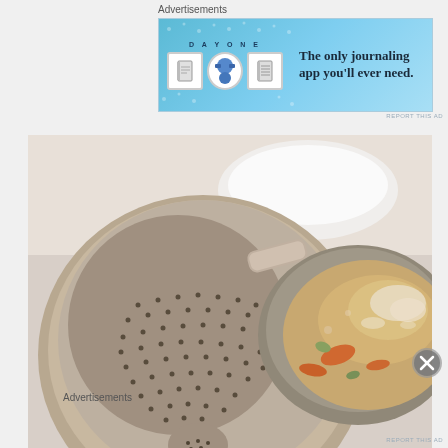Advertisements
[Figure (illustration): Day One journaling app advertisement banner with blue background, app icons, and tagline 'The only journaling app you'll ever need.']
REPORT THIS AD
[Figure (photo): Photo of a metal colander/strainer next to a pot of boiling soup with carrots and vegetables visible, on a kitchen counter.]
Advertisements
REPORT THIS AD